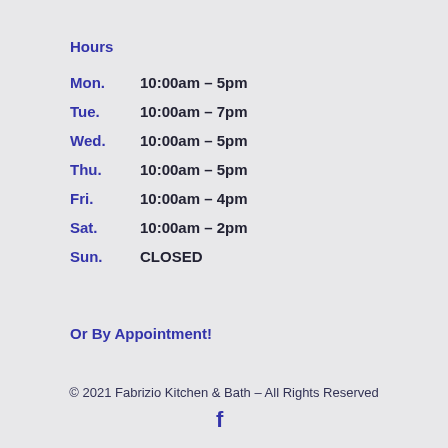Hours
| Day | Hours |
| --- | --- |
| Mon. | 10:00am – 5pm |
| Tue. | 10:00am – 7pm |
| Wed. | 10:00am – 5pm |
| Thu. | 10:00am – 5pm |
| Fri. | 10:00am – 4pm |
| Sat. | 10:00am – 2pm |
| Sun. | CLOSED |
Or By Appointment!
© 2021 Fabrizio Kitchen & Bath – All Rights Reserved
[Figure (logo): Facebook 'f' icon]